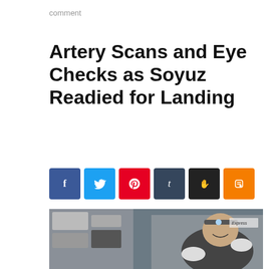comment
Artery Scans and Eye Checks as Soyuz Readied for Landing
[Figure (other): Social sharing buttons row: Facebook (blue), Twitter (light blue), Pinterest (red), Tumblr (dark blue/grey), StumbleUpon (dark/black), Blogger (orange)]
[Figure (photo): Astronaut wearing a headlamp working inside the International Space Station, smiling at the camera while handling equipment in a grey t-shirt. ISS interior with equipment racks visible.]